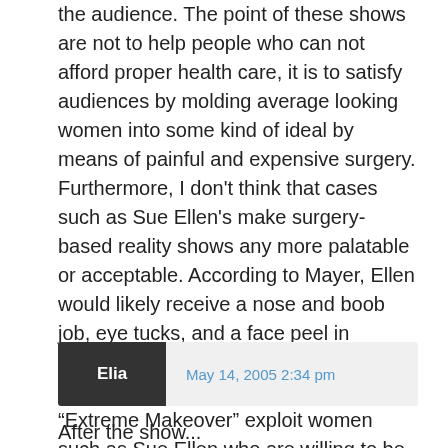the audience. The point of these shows are not to help people who can not afford proper health care, it is to satisfy audiences by molding average looking women into some kind of ideal by means of painful and expensive surgery. Furthermore, I don't think that cases such as Sue Ellen's make surgery-based reality shows any more palatable or acceptable. According to Mayer, Ellen would likely receive a nose and boob job, eye tucks, and a face peel in addition to much-needed dentures if chosen for the show. Shows like “Extreme Makeover” exploit women such as Sue Ellen who are willing to be cut-open and stuffed full of silicone in exchange for a procedure that they actually need and a limo ride.
Elia   May 14, 2005 2:34 pm
After the show...